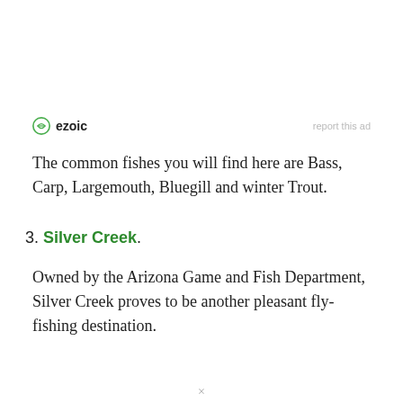[Figure (logo): Ezoic logo with circular icon and text 'ezoic', alongside 'report this ad' link]
The common fishes you will find here are Bass, Carp, Largemouth, Bluegill and winter Trout.
3. Silver Creek.
Owned by the Arizona Game and Fish Department, Silver Creek proves to be another pleasant fly-fishing destination.